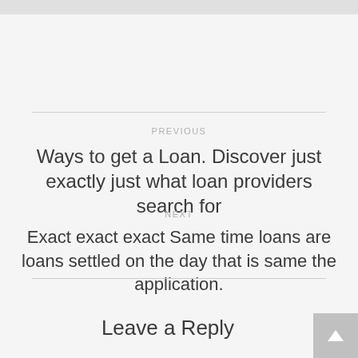PREVIOUS
Ways to get a Loan. Discover just exactly just what loan providers search for
NEXT
Exact exact exact Same time loans are loans settled on the day that is same the application.
Leave a Reply